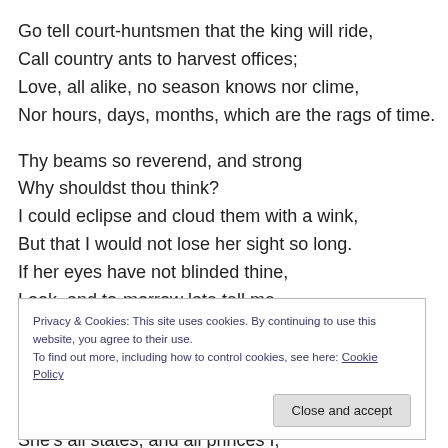Go tell court-huntsmen that the king will ride,
Call country ants to harvest offices;
Love, all alike, no season knows nor clime,
Nor hours, days, months, which are the rags of time.
Thy beams so reverend, and strong
Why shouldst thou think?
I could eclipse and cloud them with a wink,
But that I would not lose her sight so long.
If her eyes have not blinded thine,
Look, and to-morrow late tell me,
Privacy & Cookies: This site uses cookies. By continuing to use this website, you agree to their use.
To find out more, including how to control cookies, see here: Cookie Policy
She's all states, and all princes I;